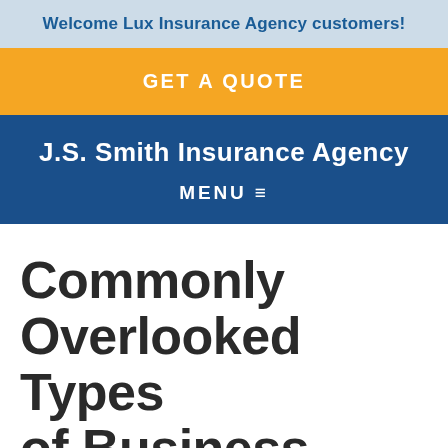Welcome Lux Insurance Agency customers!
GET A QUOTE
J.S. Smith Insurance Agency
MENU ≡
Commonly Overlooked Types of Business